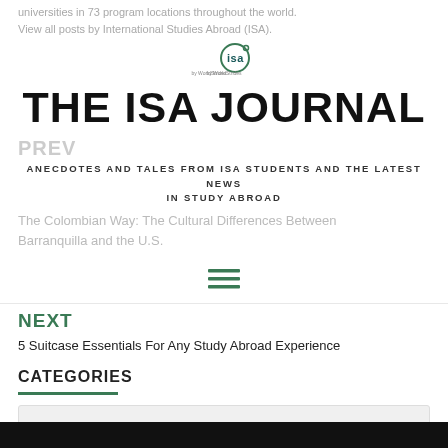universities in 73 program locations throughout the world. View all posts by International Studies Abroad (ISA)
[Figure (logo): ISA by WorldStrides logo — circular logo with 'isa' text and 'by WorldStrides' below]
THE ISA JOURNAL
ANECDOTES AND TALES FROM ISA STUDENTS AND THE LATEST NEWS IN STUDY ABROAD
PREV
The Colombian Way: The Cultural Differences Between Barranquilla and the U.S.
[Figure (other): Hamburger menu icon — three horizontal green lines]
NEXT
5 Suitcase Essentials For Any Study Abroad Experience
CATEGORIES
Select Category